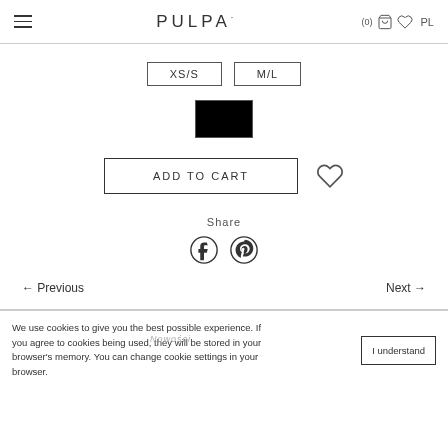PULPA· (0) PL
XS/S
M/L
[Figure (other): Black color swatch square]
ADD TO CART
Share
[Figure (other): Facebook and Pinterest social share icons]
← Previous
Next →
We use cookies to give you the best possible experience. If you agree to cookies being used, they will be stored in your browser's memory. You can change cookie settings in your browser.
I understand